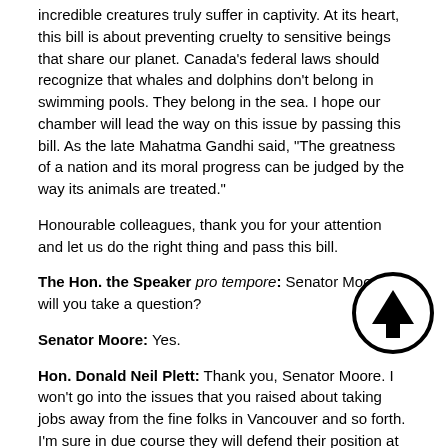incredible creatures truly suffer in captivity. At its heart, this bill is about preventing cruelty to sensitive beings that share our planet. Canada's federal laws should recognize that whales and dolphins don't belong in swimming pools. They belong in the sea. I hope our chamber will lead the way on this issue by passing this bill. As the late Mahatma Gandhi said, "The greatness of a nation and its moral progress can be judged by the way its animals are treated."
Honourable colleagues, thank you for your attention and let us do the right thing and pass this bill.
The Hon. the Speaker pro tempore: Senator Moore, will you take a question?
Senator Moore: Yes.
Hon. Donald Neil Plett: Thank you, Senator Moore. I won't go into the issues that you raised about taking jobs away from the fine folks in Vancouver and so forth. I'm sure in due course they will defend their position at committee, or maybe some of the B.C. senators will here.
I have a question. In Manitoba we don't have any whales or zoos, but we have polar bears. Polar bears are also used to roaming the wild and going for thousands of miles across ice floes and so forth, and now they're in captivity in a small zoo in